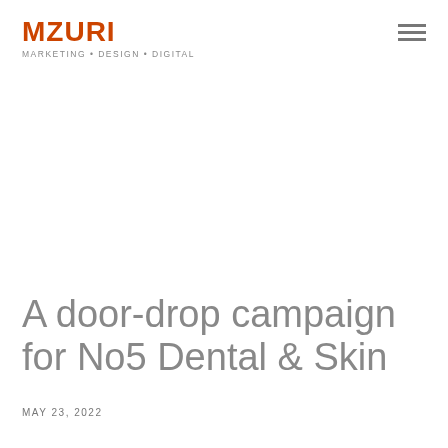MZURI MARKETING · DESIGN · DIGITAL
A door-drop campaign for No5 Dental & Skin
MAY 23, 2022